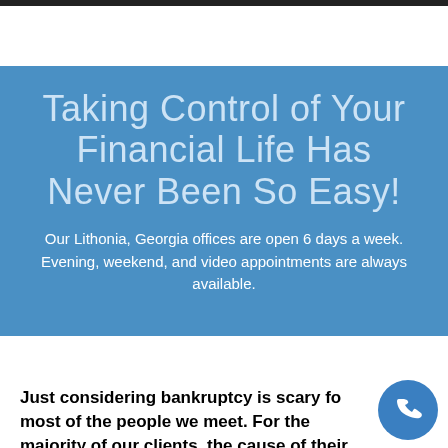[Figure (other): Dark top navigation bar at the top of the page]
Taking Control of Your Financial Life Has Never Been So Easy!
Our Lithonia, Georgia offices are open 6 days a week. Evening, weekend, and video appointments are always available.
Just considering bankruptcy is scary for most of the people we meet. For the majority of our clients, the cause of their